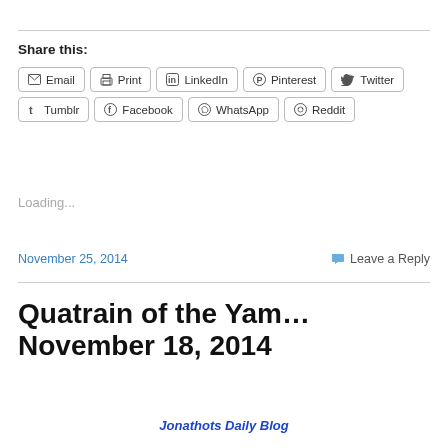Share this:
Email | Print | LinkedIn | Pinterest | Twitter | Tumblr | Facebook | WhatsApp | Reddit
Loading...
November 25, 2014   Leave a Reply
Quatrain of the Yam… November 18, 2014
Jonathots Daily Blog